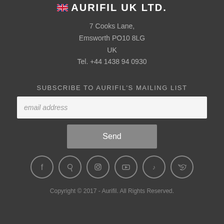AURIFIL UK LTD.
7 Cooks Lane,
Emsworth PO10 8LG
UK
Tel. +44 1438 94 0930
SUBSCRIBE TO AURIFIL'S MAILING LIST
email address
Send
[Figure (infographic): Row of six social media icons: Facebook, Pinterest, Instagram, YouTube, TikTok, Twitter — each in a circular outline]
Copyright © 2017 - Aurifil. All Rights Reserved.